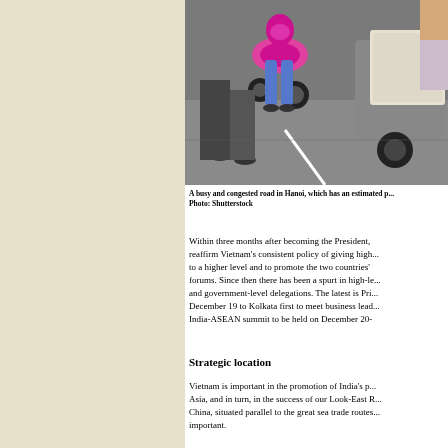[Figure (photo): A busy and congested road in Hanoi showing motorcycles and people on the street, viewed from above]
A busy and congested road in Hanoi, which has an estimated p... Photo: Shutterstock
Within three months after becoming the President, reaffirm Vietnam’s consistent policy of giving high... to a higher level and to promote the two countries’... forums. Since then there has been a spurt in high-le... and government-level delegations. The latest is Pri... December 19 to Kolkata first to meet business lead... India-ASEAN summit to be held on December 20-
Strategic location
Vietnam is important in the promotion of India’s p... Asia, and in turn, in the success of our Look-East R... China, situated parallel to the great sea trade routes... important.